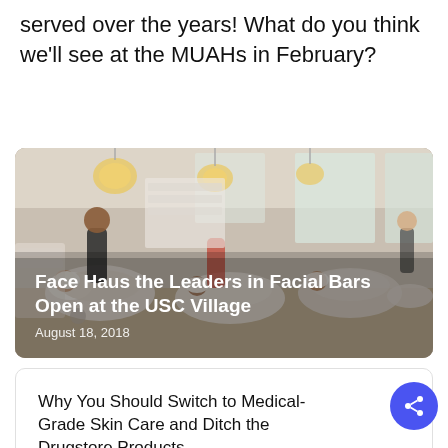served over the years! What do you think we'll see at the MUAHs in February?
[Figure (photo): Interior of a facial bar salon with people receiving treatments in reclined chairs. Staff working on clients. Pendant lights hang from ceiling. Large windows in background.]
Face Haus the Leaders in Facial Bars Open at the USC Village
August 18, 2018
Why You Should Switch to Medical-Grade Skin Care and Ditch the Drugstore Products
April 29, 2021